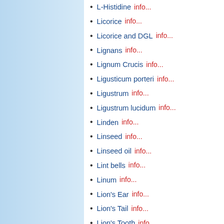L-Histidine  info...
Licorice  info...
Licorice and DGL  info...
Lignans  info...
Lignum Crucis  info...
Ligusticum porteri  info...
Ligustrum  info...
Ligustrum lucidum  info...
Linden  info...
Linseed  info...
Linseed oil  info...
Lint bells  info...
Linum  info...
Lion's Ear  info...
Lion's Tail  info...
Lion's Tooth  info...